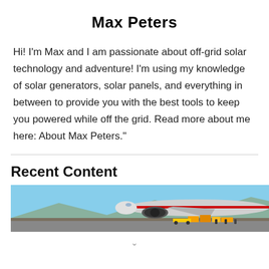Max Peters
Hi! I'm Max and I am passionate about off-grid solar technology and adventure! I'm using my knowledge of solar generators, solar panels, and everything in between to provide you with the best tools to keep you powered while off the grid. Read more about me here: About Max Peters."
Recent Content
[Figure (photo): Airplane being loaded with cargo on tarmac, with an advertisement banner reading 'WITHOUT REGARD TO POLITICS, RELIGION, OR ABILITY TO PAY']